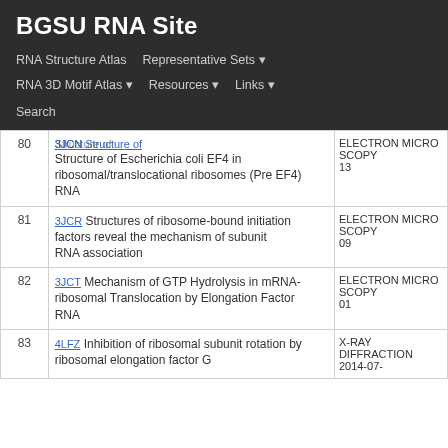BGSU RNA Site
RNA Structure Atlas | Representative Sets | RNA 3D Motif Atlas | Resources | Links | Search
| # | ID / Title | Meta |
| --- | --- | --- |
| 80 | 3JCN / Structure of Escherichia coli EF4 in ribosomal/translocational ribosomes (Pre EF4) RNA | ELECTRON MICROSCOPY / 13 |
| 81 | 3JCR / Structures of ribosome-bound initiation factors reveal the mechanism of subunit RNA association | ELECTRON MICROSCOPY / 09 |
| 82 | 3JCT / Mechanism of GTP Hydrolysis in mRNA-ribosomal Translocation by Elongation Factor RNA | ELECTRON MICROSCOPY / 01 |
| 83 | 4LFZ / Inhibition of ribosomal subunit rotation by ribosomal elongation factor G RNA | X-RAY DIFFRACTION / 2014-07 |